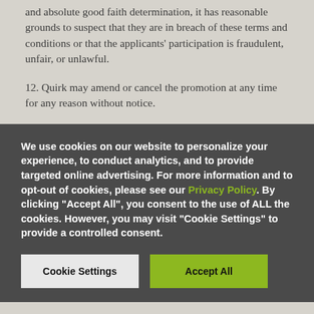and absolute good faith determination, it has reasonable grounds to suspect that they are in breach of these terms and conditions or that the applicants' participation is fraudulent, unfair, or unlawful.
12. Quirk may amend or cancel the promotion at any time for any reason without notice.
We use cookies on our website to personalize your experience, to conduct analytics, and to provide targeted online advertising. For more information and to opt-out of cookies, please see our Privacy Policy. By clicking "Accept All", you consent to the use of ALL the cookies. However, you may visit "Cookie Settings" to provide a controlled consent.